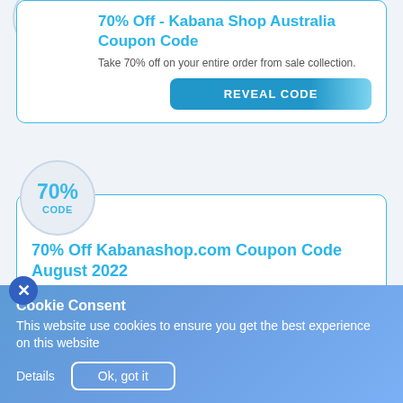[Figure (other): Circular badge with '70%' and 'OFF' text in blue, cropped at top]
70% Off - Kabana Shop Australia Coupon Code
Take 70% off on your entire order from sale collection.
REVEAL CODE
[Figure (other): Circular badge with '70%' and 'CODE' text in blue]
70% Off Kabanashop.com Coupon Code August 2022
Upto 70% off on all sale styles.
Cookie Consent
This website use cookies to ensure you get the best experience on this website
Details
Ok, got it